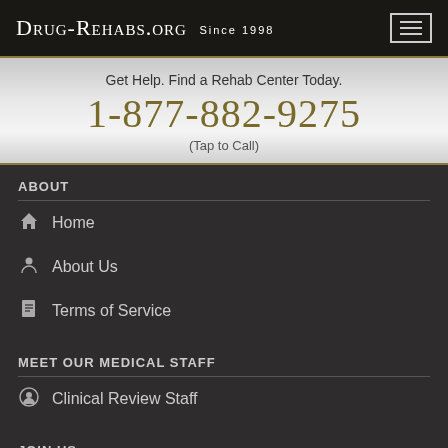Drug-Rehabs.org Since 1998
Get Help. Find a Rehab Center Today.
1-877-882-9275
(Tap to Call)
ABOUT
Home
About Us
Terms of Service
MEET OUR MEDICAL STAFF
Clinical Review Staff
JOIN US
Surveys